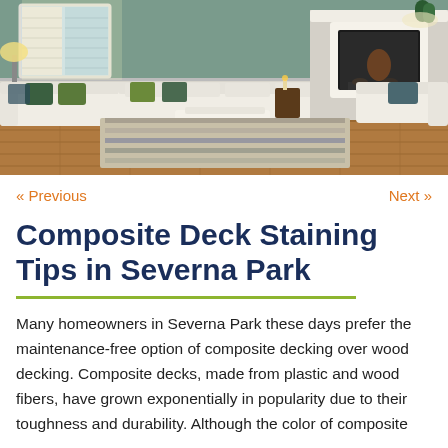[Figure (photo): Interior photo of a living room with white sofas, green decorative pillows, a white fireplace, a striped area rug on hardwood floors, and windows with shutters letting in natural light.]
« Previous
Next »
Composite Deck Staining Tips in Severna Park
Many homeowners in Severna Park these days prefer the maintenance-free option of composite decking over wood decking. Composite decks, made from plastic and wood fibers, have grown exponentially in popularity due to their toughness and durability. Although the color of composite